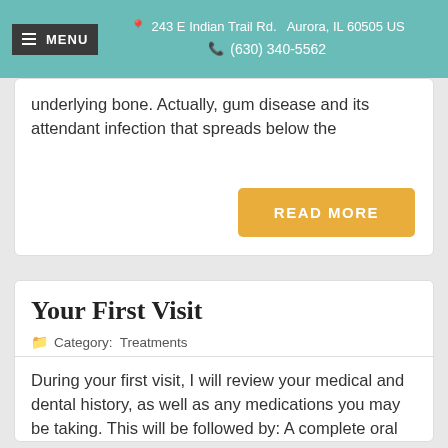MENU  243 E Indian Trail Rd.  Aurora, IL 60505 US  (630) 340-5562
underlying bone. Actually, gum disease and its attendant infection that spreads below the
READ MORE
Your First Visit
Category: Treatments
During your first visit, I will review your medical and dental history, as well as any medications you may be taking. This will be followed by: A complete oral and periodontal exam of your gums to check for gum